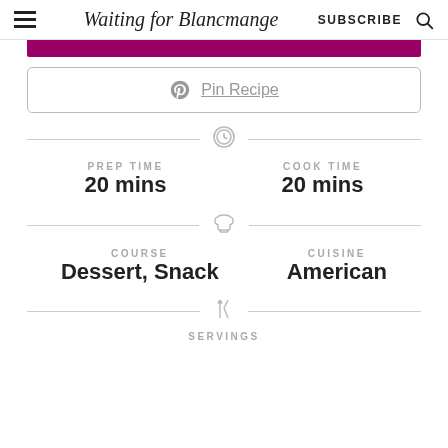Waiting for Blancmange — SUBSCRIBE
Pin Recipe
PREP TIME
20 mins
COOK TIME
20 mins
COURSE
Dessert, Snack
CUISINE
American
SERVINGS